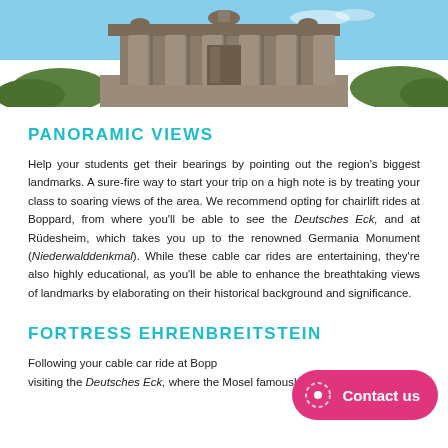[Figure (photo): Photograph of a stone monument or temple structure (Germania Monument / Niederwalddenkmal) with columns and sculptures, set against a blue sky with green foliage at the base.]
PANORAMIC VIEWS
Help your students get their bearings by pointing out the region's biggest landmarks. A sure-fire way to start your trip on a high note is by treating your class to soaring views of the area. We recommend opting for chairlift rides at Boppard, from where you'll be able to see the Deutsches Eck, and at Rüdesheim, which takes you up to the renowned Germania Monument (Niederwalddenkmal). While these cable car rides are entertaining, they're also highly educational, as you'll be able to enhance the breathtaking views of landmarks by elaborating on their historical background and significance.
FORTRESS EHRENBREITSTEIN
Following your cable car ride at Boppard, visiting the Deutsches Eck, where the Mosel famously meets the